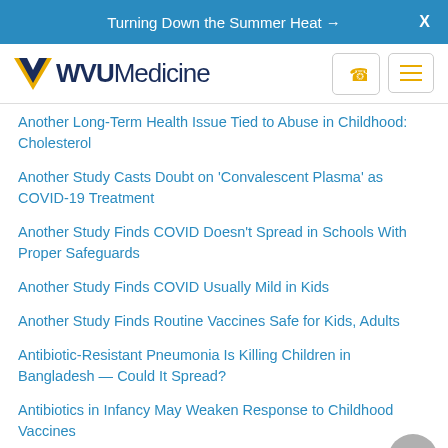Turning Down the Summer Heat →  X
[Figure (logo): WVU Medicine logo with flying WV mark in gold and navy, with phone and menu icons]
Another Long-Term Health Issue Tied to Abuse in Childhood: Cholesterol
Another Study Casts Doubt on 'Convalescent Plasma' as COVID-19 Treatment
Another Study Finds COVID Doesn't Spread in Schools With Proper Safeguards
Another Study Finds COVID Usually Mild in Kids
Another Study Finds Routine Vaccines Safe for Kids, Adults
Antibiotic-Resistant Pneumonia Is Killing Children in Bangladesh — Could It Spread?
Antibiotics in Infancy May Weaken Response to Childhood Vaccines
Antibiotics in Pregnancy Tied to Higher Odds for Asthma in Kids